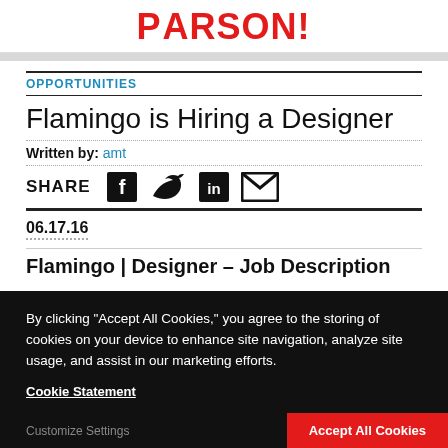PARSON!
OPPORTUNITIES
Flamingo is Hiring a Designer
Written by: amt
SHARE
06.17.16
Flamingo | Designer – Job Description
By clicking “Accept All Cookies,” you agree to the storing of cookies on your device to enhance site navigation, analyze site usage, and assist in our marketing efforts.
Cookie Statement